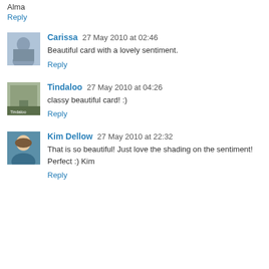Alma
Reply
Carissa 27 May 2010 at 02:46
Beautiful card with a lovely sentiment.
Reply
Tindaloo 27 May 2010 at 04:26
classy beautiful card! :)
Reply
Kim Dellow 27 May 2010 at 22:32
That is so beautiful! Just love the shading on the sentiment! Perfect :) Kim
Reply